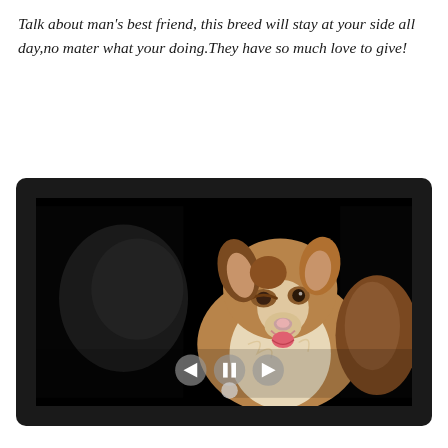Talk about man's best friend, this breed will stay at your side all day,no mater what your doing.They have so much love to give!
[Figure (photo): A smiling Australian Shepherd dog with brown and white fur, photographed against a black background. The image is displayed inside a dark-bordered media player with back, pause, and forward controls visible at the bottom.]